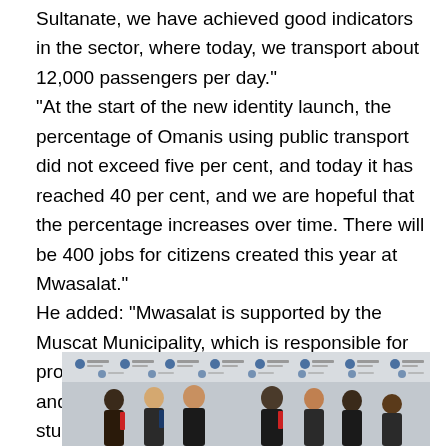Sultanate, we have achieved good indicators in the sector, where today, we transport about 12,000 passengers per day."
"At the start of the new identity launch, the percentage of Omanis using public transport did not exceed five per cent, and today it has reached 40 per cent, and we are hopeful that the percentage increases over time. There will be 400 jobs for citizens created this year at Mwasalat."
He added: "Mwasalat is supported by the Muscat Municipality, which is responsible for providing transport infrastructure in Muscat, and we hope for more facilities. There is a study to create private lanes for public transport vehicles, and I wish to see this project come to light."
[Figure (photo): Group photo of several men in formal attire standing in front of a branded backdrop with logos. The backdrop appears to show repeated logos of an organization.]